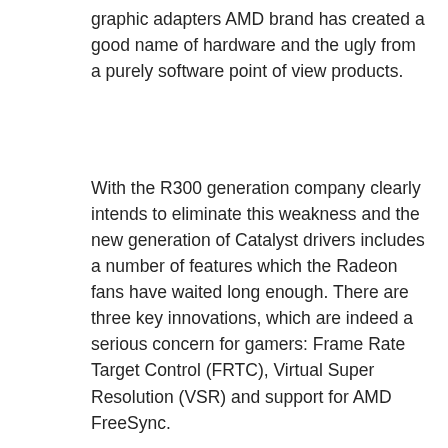graphic adapters AMD brand has created a good name of hardware and the ugly from a purely software point of view products.
With the R300 generation company clearly intends to eliminate this weakness and the new generation of Catalyst drivers includes a number of features which the Radeon fans have waited long enough. There are three key innovations, which are indeed a serious concern for gamers: Frame Rate Target Control (FRTC), Virtual Super Resolution (VSR) and support for AMD FreeSync.
Briefly about each:
[Figure (screenshot): AMD Catalyst Control Center screenshot showing Frame Rate settings panel. Left sidebar shows navigation items: Pinned, Presets, Desktop Management, Common Display Tasks, My Digital Flat... The main panel header reads 'Frame Rate' with options to 'Reduce power consumption by running full-screen applications at reduced frame rates.' Global Application Settings section shows 'Maximum Frame Rate' checkbox with a value field showing '55 fps'.]